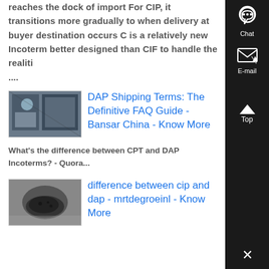reaches the dock of import For CIP, it transitions more gradually to when delivery at buyer destination occurs C is a relatively new Incoterm better designed than CIF to handle the realiti
....
[Figure (photo): Worker in warehouse/industrial setting wearing blue uniform and hard hat]
DAP Shipping Terms: The Definitive FAQ Guide - Bansar China - Know More
What's the difference between CPT and DAP Incoterms? - Quora...
[Figure (photo): Close-up of dark granular material/seeds in metallic packaging]
difference between cip and dap - mrtdegroeinl - Know More